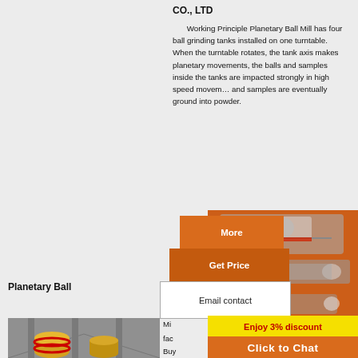CO., LTD
Working Principle Planetary Ball Mill has four ball grinding tanks installed on one turntable. When the turntable rotates, the tank axis makes planetary movements, the balls and samples inside the tanks are impacted strongly in high speed movements and samples are eventually ground into powder.
[Figure (photo): Screenshot of a website with orange sidebar showing industrial machinery (crushers, mills) with 'More', 'Get Price', 'Email contact' buttons, 'Enjoy 3% discount', 'Click to Chat' overlay, and Enquiry panel with limingjlmofen@sina.com]
Planetary Ball
Mi
fac
Buy